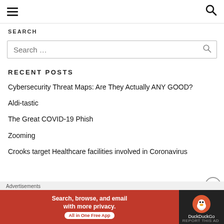≡  🔍
SEARCH
Search ...
RECENT POSTS
Cybersecurity Threat Maps: Are They Actually ANY GOOD?
Aldi-tastic
The Great COVID-19 Phish
Zooming
Crooks target Healthcare facilities involved in Coronavirus
[Figure (screenshot): DuckDuckGo advertisement banner: Search, browse, and email with more privacy. All in One Free App. DuckDuckGo logo on dark background.]
Advertisements
REPORT THIS AD